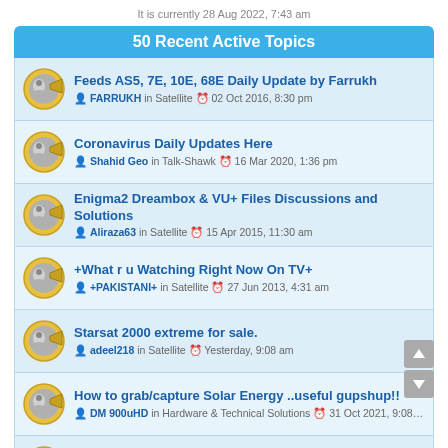It is currently 28 Aug 2022, 7:43 am
50 Recent Active Topics
Feeds AS5, 7E, 10E, 68E Daily Update by Farrukh — FARRUKH in Satellite — 02 Oct 2016, 8:30 pm
Coronavirus Daily Updates Here — Shahid Geo in Talk-Shawk — 16 Mar 2020, 1:36 pm
Enigma2 Dreambox & VU+ Files Discussions and Solutions — Aliraza63 in Satellite — 15 Apr 2015, 11:30 am
+What r u Watching Right Now On TV+ — +PAKISTANI+ in Satellite — 27 Jun 2013, 4:31 am
Starsat 2000 extreme for sale. — adeel218 in Satellite — Yesterday, 9:08 am
How to grab/capture Solar Energy ..useful gupshup!! — DM 900uHD in Hardware & Technical Solutions — 31 Oct 2021, 9:08 am
+What r u Watching Right Now On IPTV+ — Athart in Satellite — 28 May 2018, 10:49 pm
Best Debit Card for Online Shopping on Int. Sites without Yearly Fees !